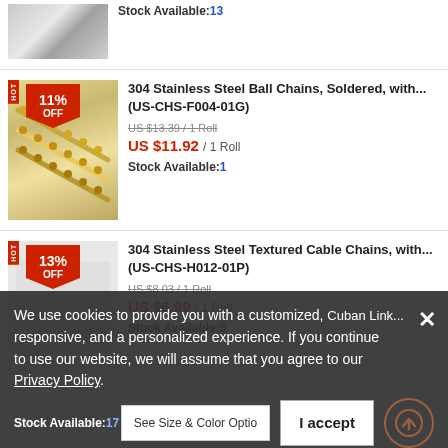Stock Available: 13
304 Stainless Steel Ball Chains, Soldered, with... (US-CHS-F004-01G)
US $13.39 / 1 Roll (original price, strikethrough)
US $11.92 / 1 Roll
Stock Available: 1
304 Stainless Steel Textured Cable Chains, with... (US-CHS-H012-01P)
US $8.03 / 1 Roll (original price, strikethrough)
US $6.99 / 1 Roll
Stock Available: 5
We use cookies to provide you with a customized, responsive, and a personalized experience. If you continue to use our website, we will assume that you agree to our Privacy Policy.
Stock Available: 17
I accept